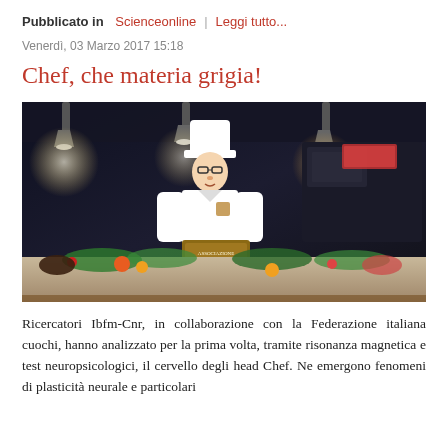Pubblicato in Scienceonline | Leggi tutto...
Venerdì, 03 Marzo 2017 15:18
Chef, che materia grigia!
[Figure (photo): A chef in white uniform and tall white hat stands behind a counter filled with green garnishes and colorful fruits/vegetables in a dark professional kitchen. The chef holds or displays an award plaque. Several heat lamps illuminate the scene from above.]
Ricercatori Ibfm-Cnr, in collaborazione con la Federazione italiana cuochi, hanno analizzato per la prima volta, tramite risonanza magnetica e test neuropsicologici, il cervello degli head Chef. Ne emergono fenomeni di plasticità neurale e particolari